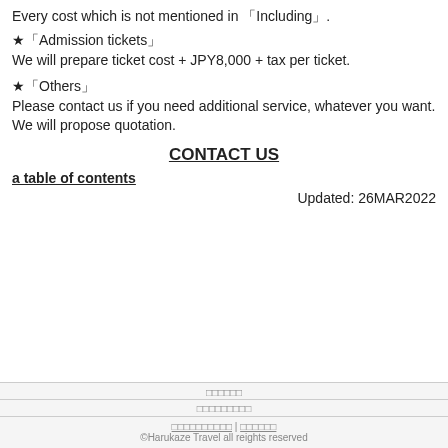Every cost which is not mentioned in 「Including」.
★「Admission tickets」
We will prepare ticket cost + JPY8,000 + tax per ticket.
★「Others」
Please contact us if you need additional service, whatever you want.
We will propose quotation.
CONTACT US
a table of contents
Updated: 26MAR2022
©Harukaze Travel all reights reserved